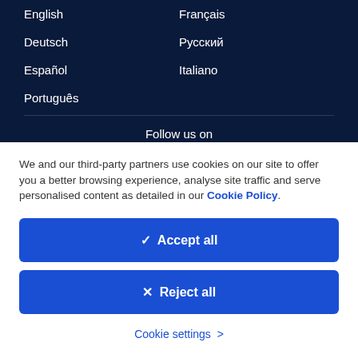English
Français
Deutsch
Русский
Español
Italiano
Português
Follow us on
We and our third-party partners use cookies on our site to offer you a better browsing experience, analyse site traffic and serve personalised content as detailed in our Cookie Policy.
✓  Accept all
✕  Reject all
Cookie settings  >